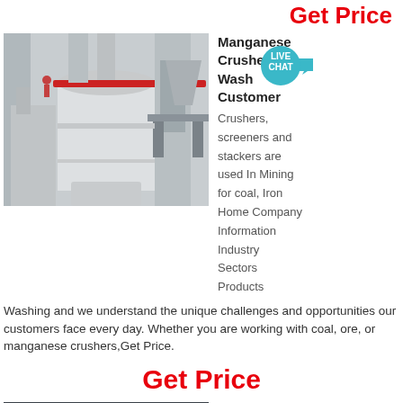Get Price
[Figure (photo): Industrial mining crusher/mill equipment - large white cylindrical vertical grinding mill with pipes and red beam in outdoor industrial setting]
Manganese Crusher And Washing Customer
Crushers, screeners and stackers are used In Mining for coal, Iron Home Company Information Industry Sectors Products
Washing and we understand the unique challenges and opportunities our customers face every day. Whether you are working with coal, ore, or manganese crushers,Get Price.
Get Price
[Figure (photo): Industrial building interior with machinery - bottom partial image]
Manganese